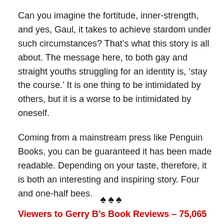Can you imagine the fortitude, inner-strength, and yes, Gaul, it takes to achieve stardom under such circumstances? That’s what this story is all about. The message here, to both gay and straight youths struggling for an identity is, ‘stay the course.’ It is one thing to be intimidated by others, but it is a worse to be intimidated by oneself.
Coming from a mainstream press like Penguin Books, you can be guaranteed it has been made readable. Depending on your taste, therefore, it is both an interesting and inspiring story. Four and one-half bees.
♠♠♠
Viewers to Gerry B’s Book Reviews – 75,065
♠♠♠